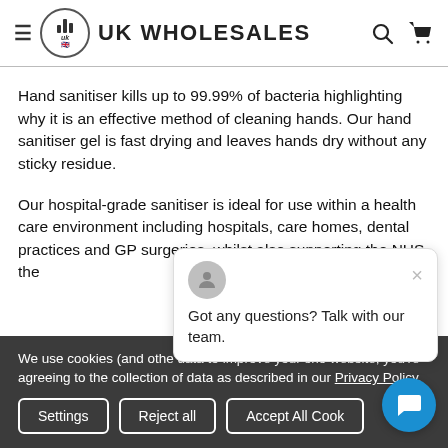UK WHOLESALES
Hand sanitiser kills up to 99.99% of bacteria highlighting why it is an effective method of cleaning hands. Our hand sanitiser gel is fast drying and leaves hands dry without any sticky residue.
Our hospital-grade sanitiser is ideal for use within a health care environment including hospitals, care homes, dental practices and GP surgeries, whilst also supporting the NHS the…
We use cookies (and other technologies) to collect data to improve your shopping experience. By using our website, you're agreeing to the collection of data as described in our Privacy Policy.
[Figure (screenshot): Chat popup with avatar icon and text: Got any questions? Talk with our team.]
[Figure (other): Blue circular chat bubble button]